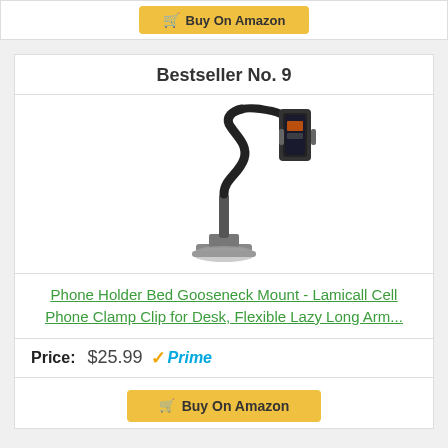[Figure (screenshot): Partial top strip showing a cropped 'Buy On Amazon' button in gold/yellow color]
Bestseller No. 9
[Figure (photo): Product photo of a black gooseneck phone holder with clamp base and flexible arm, holding a phone at the top]
Phone Holder Bed Gooseneck Mount - Lamicall Cell Phone Clamp Clip for Desk, Flexible Lazy Long Arm...
Price: $25.99 Prime
[Figure (screenshot): Partial 'Buy On Amazon' button in gold/yellow color at the bottom of the page]